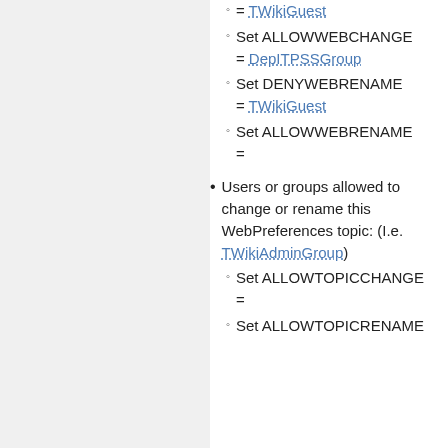= TWikiGuest
Set ALLOWWEBCHANGE = DepITPSSGroup
Set DENYWEBRENAME = TWikiGuest
Set ALLOWWEBRENAME =
Users or groups allowed to change or rename this WebPreferences topic: (I.e. TWikiAdminGroup)
Set ALLOWTOPICCHANGE =
Set ALLOWTOPICRENAME